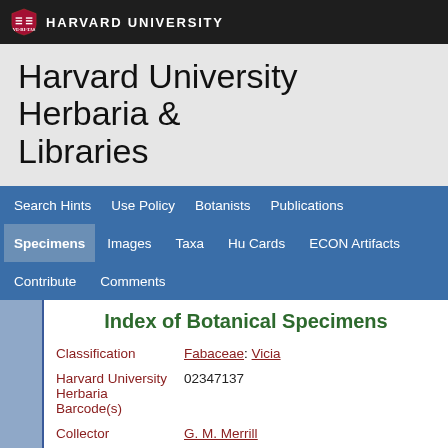HARVARD UNIVERSITY
Harvard University Herbaria & Libraries
Search Hints | Use Policy | Botanists | Publications | Specimens | Images | Taxa | Hu Cards | ECON Artifacts | Contribute | Comments
Index of Botanical Specimens
| Field | Value |
| --- | --- |
| Classification | Fabaceae: Vicia |
| Harvard University Herbaria Barcode(s) | 02347137 |
| Collector | G. M. Merrill |
| Collector number | 1888 |
| Country | United States of America |
| State | Arkansas |